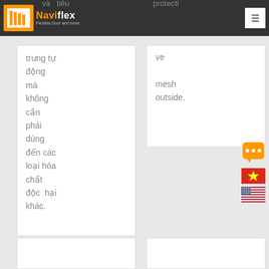[Figure (logo): Naviflex logo - orange and white flexible door brand mark with tagline 'Flexible Door and more']
và tiêu trưng tự động mà không cần phải dùng đến các loại hóa chất độc hại khác.
protective mesh outside.